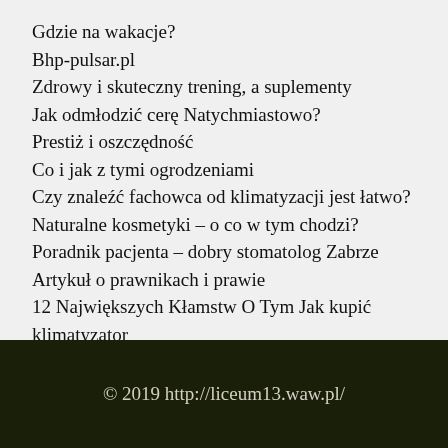Gdzie na wakacje?
Bhp-pulsar.pl
Zdrowy i skuteczny trening, a suplementy
Jak odmłodzić cerę Natychmiastowo?
Prestiż i oszczędność
Co i jak z tymi ogrodzeniami
Czy znaleźć fachowca od klimatyzacji jest łatwo?
Naturalne kosmetyki – o co w tym chodzi?
Poradnik pacjenta – dobry stomatolog Zabrze
Artykuł o prawnikach i prawie
12 Największych Kłamstw O Tym Jak kupić klimatyzator
© 2019 http://liceum13.waw.pl/